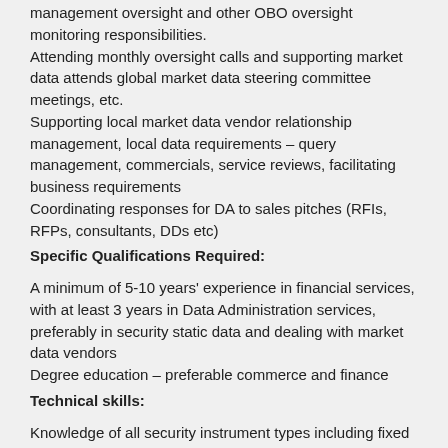management oversight and other OBO oversight monitoring responsibilities.
Attending monthly oversight calls and supporting market data attends global market data steering committee meetings, etc.
Supporting local market data vendor relationship management, local data requirements – query management, commercials, service reviews, facilitating business requirements
Coordinating responses for DA to sales pitches (RFIs, RFPs, consultants, DDs etc)
Specific Qualifications Required:
A minimum of 5-10 years' experience in financial services, with at least 3 years in Data Administration services, preferably in security static data and dealing with market data vendors
Degree education – preferable commerce and finance
Technical skills:
Knowledge of all security instrument types including fixed income, equities, derivatives, corporate actions, and an understanding of trade processing
Systems knowledge: